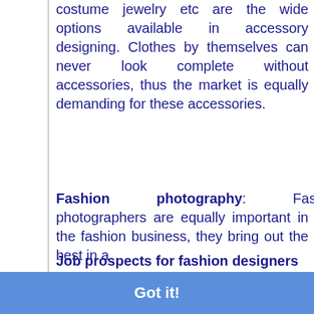costume jewelry etc are the wide options available in accessory designing. Clothes by themselves can never look complete without accessories, thus the market is equally demanding for these accessories.
Fashion photography: Fashion photographers are equally important in the fashion business, they bring out the best in a [model] and [photos] are
This website may use cookies to enhance your user experience. Learn more
Got it!
Job prospects for fashion designers